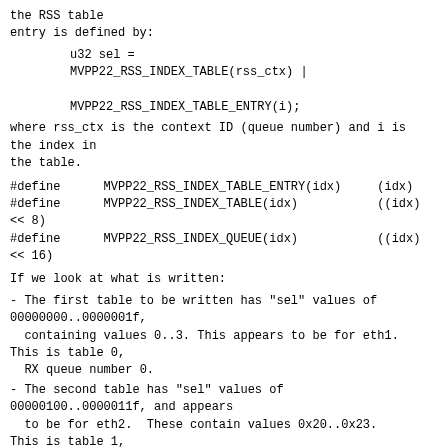the RSS table
entry is defined by:
where rss_ctx is the context ID (queue number) and i is the index in
the table.
#define      MVPP22_RSS_INDEX_TABLE_ENTRY(idx)     (idx)
#define      MVPP22_RSS_INDEX_TABLE(idx)           ((idx)
<< 8)
#define      MVPP22_RSS_INDEX_QUEUE(idx)           ((idx)
<< 16)
If we look at what is written:
- The first table to be written has "sel" values of 00000000..0000001f,
  containing values 0..3. This appears to be for eth1. This is table 0,
  RX queue number 0.
- The second table has "sel" values of 00000100..0000011f, and appears
  to be for eth2.  These contain values 0x20..0x23. This is table 1,
  RX queue number 0.